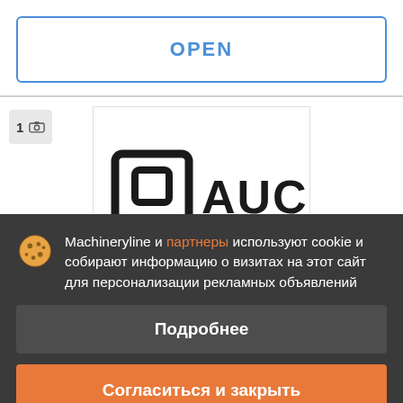OPEN
[Figure (logo): BO AUC logo — bold black letters BO in a rounded rectangle box, followed by AUC text]
Machineryline и партнеры используют cookie и собирают информацию о визитах на этот сайт для персонализации рекламных объявлений
Подробнее
Согласиться и закрыть